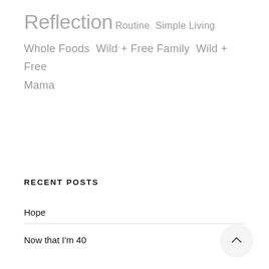Reflection Routine Simple Living Whole Foods Wild + Free Family Wild + Free Mama
RECENT POSTS
Hope
Now that I'm 40